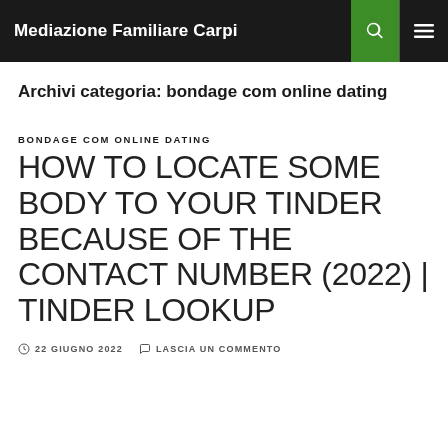Mediazione Familiare Carpi
Archivi categoria: bondage com online dating
BONDAGE COM ONLINE DATING
HOW TO LOCATE SOME BODY TO YOUR TINDER BECAUSE OF THE CONTACT NUMBER (2022) | TINDER LOOKUP
22 GIUGNO 2022   LASCIA UN COMMENTO